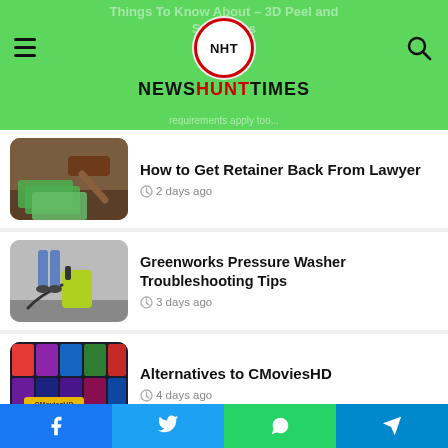NewshuntTimes - Things To Know About – 3D Peel and Stick Tiles
How to Get Retainer Back From Lawyer · 2 days ago
Greenworks Pressure Washer Troubleshooting Tips · 3 days ago
Alternatives to CMoviesHD · 4 days ago
7 Alternative Ways to Wear Ripped Jeans for Women · 7 days ago
Facebook | Twitter | WhatsApp | Telegram